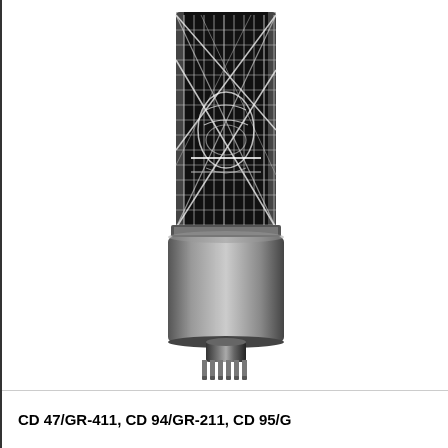[Figure (photo): Black and white photograph of a vacuum tube / electron tube component. The tube has a cylindrical glass envelope showing internal grid structure with criss-crossing wires and a central element. Below the glass section is a large cylindrical metal base/socket, and at the bottom are protruding metal pins.]
CD 47/GR-411, CD 94/GR-211, CD 95/G